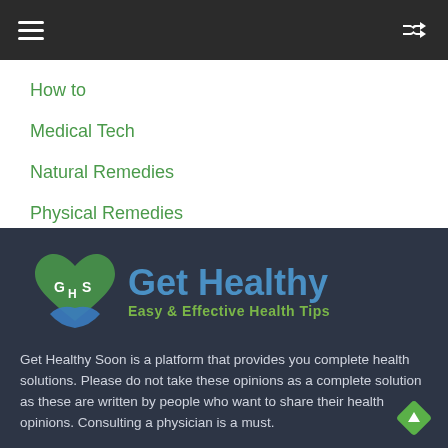How to
Medical Tech
Natural Remedies
Physical Remedies
[Figure (logo): Get Healthy Soon logo with green heart/hands icon and blue 'Get Healthy' text, green tagline 'Easy & Effective Health Tips']
Get Healthy Soon is a platform that provides you complete health solutions. Please do not take these opinions as a complete solution as these are written by people who want to share their health opinions. Consulting a physician is a must.